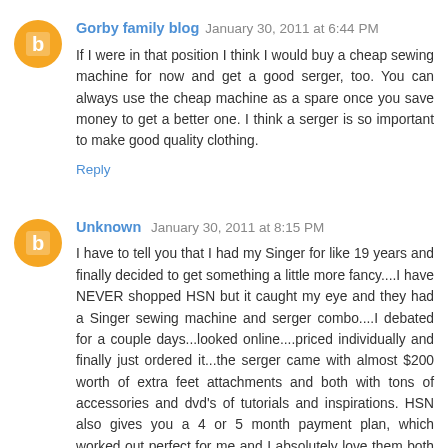Gorby family blog January 30, 2011 at 6:44 PM
If I were in that position I think I would buy a cheap sewing machine for now and get a good serger, too. You can always use the cheap machine as a spare once you save money to get a better one. I think a serger is so important to make good quality clothing.
Reply
Unknown January 30, 2011 at 8:15 PM
I have to tell you that I had my Singer for like 19 years and finally decided to get something a little more fancy....I have NEVER shopped HSN but it caught my eye and they had a Singer sewing machine and serger combo....I debated for a couple days...looked online....priced individually and finally just ordered it...the serger came with almost $200 worth of extra feet attachments and both with tons of accessories and dvd's of tutorials and inspirations. HSN also gives you a 4 or 5 month payment plan, which worked out perfect for me and I absolutely love them both and do a LOT of